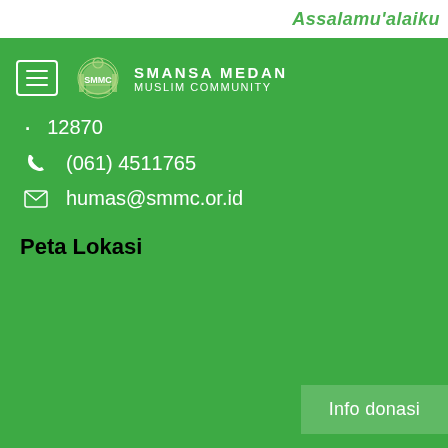Assalamu'alaiku
[Figure (logo): SMMC mosque logo with hamburger menu button and brand name SMANSA MEDAN MUSLIM COMMUNITY]
12870
(061) 4511765
humas@smmc.or.id
Peta Lokasi
Info donasi